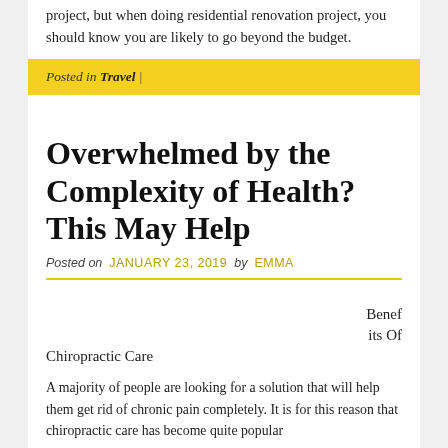project, but when doing residential renovation project, you should know you are likely to go beyond the budget.
Posted in Travel |
Overwhelmed by the Complexity of Health? This May Help
Posted on JANUARY 23, 2019 by EMMA
Benefits Of Chiropractic Care
A majority of people are looking for a solution that will help them get rid of chronic pain completely. It is for this reason that chiropractic care has become quite popular